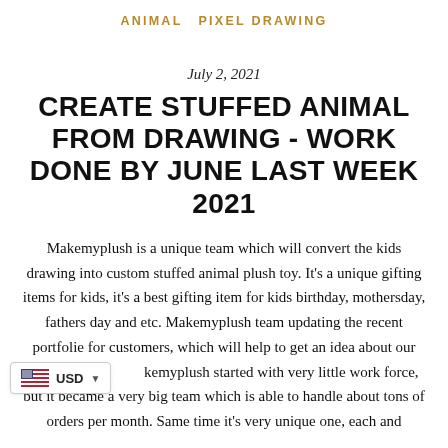ANIMAL   PIXEL DRAWING
July 2, 2021
CREATE STUFFED ANIMAL FROM DRAWING - WORK DONE BY JUNE LAST WEEK 2021
Makemyplush is a unique team which will convert the kids drawing into custom stuffed animal plush toy. It's a unique gifting items for kids, it's a best gifting item for kids birthday, mothersday, fathers day and etc. Makemyplush team updating the recent portfolie for customers, which will help to get an idea about our works and Makemyplush started with very little work force, but it became a very big team which is able to handle about tons of orders per month. Same time it's very unique one, each and